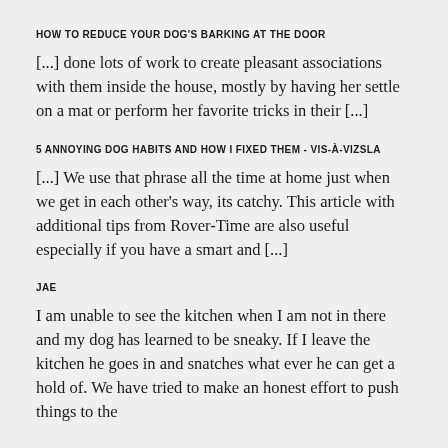HOW TO REDUCE YOUR DOG'S BARKING AT THE DOOR
[...] done lots of work to create pleasant associations with them inside the house, mostly by having her settle on a mat or perform her favorite tricks in their [...]
5 ANNOYING DOG HABITS AND HOW I FIXED THEM - VIS-À-VIZSLA
[...] We use that phrase all the time at home just when we get in each other's way, its catchy. This article with additional tips from Rover-Time are also useful especially if you have a smart and [...]
JAE
I am unable to see the kitchen when I am not in there and my dog has learned to be sneaky. If I leave the kitchen he goes in and snatches what ever he can get a hold of. We have tried to make an honest effort to push things to the